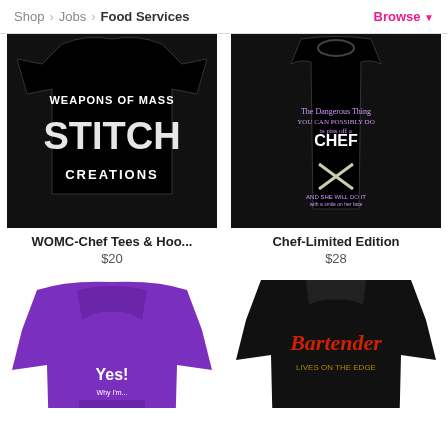Shop > Jobs > Food Services   Browse ▼
[Figure (photo): Black t-shirt with 'Weapons of Mass STITCH Creations' text in white grunge style]
[Figure (photo): Black racerback tank top with chef-themed text and crossed knives graphic in purple and yellow]
WOMC-Chef Tees & Hoo...
$20
Chef-Limited Edition
$28
[Figure (photo): Purple hoodie with 'Yes!' text in white]
[Figure (photo): Black hoodie with 'Bartender' text in red on back]